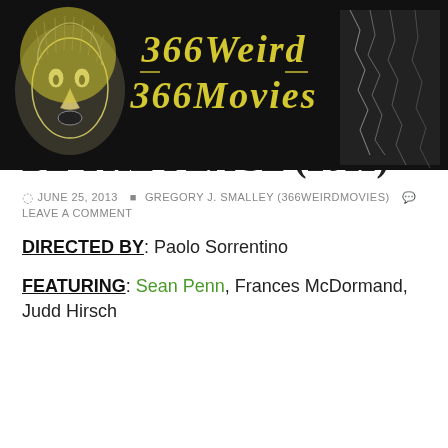[Figure (illustration): 366 Weird Movies banner with illustrated horror/surreal figures in black and yellow ink, with stylized '366 Weird Movies' text.]
366 Weird Movies
CAPSULES
CAPSULE: THIS MUST BE THE PLACE (2011)
JUNE 25, 2013  GREGORY J. SMALLEY (366WEIRDMOVIES)  LEAVE A COMMENT
DIRECTED BY: Paolo Sorrentino
FEATURING: Sean Penn, Frances McDormand, Judd Hirsch